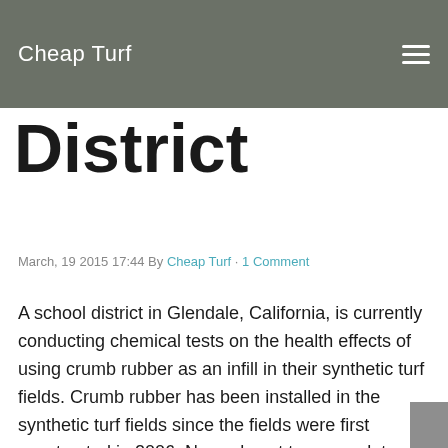Cheap Turf
District
March, 19 2015 17:44 By Cheap Turf · 1 Comment
A school district in Glendale, California, is currently conducting chemical tests on the health effects of using crumb rubber as an infill in their synthetic turf fields. Crumb rubber has been installed in the synthetic turf fields since the fields were first constructed in 2006. Now, almost ten years later, parents of the children playing in the fields have brought their concerns to the school district about the use of crumb rubber in the synthetic turf fields after the potential health risks of crumb rubber was given extensive news coverage in the media. The Glendale Unified School District responded